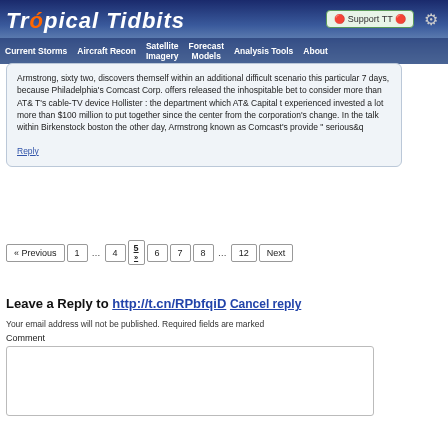Tropical Tidbits
Armstrong, sixty two, discovers themself within an additional difficult scenario this particular 7 days, because Philadelphia's Comcast Corp. offers released the inhospitable bet to consider more than AT& T's cable-TV device Hollister : the department which AT& Capital t experienced invested a lot more than $100 million to put together since the center from the corporation's change. In the talk within Birkenstock boston the other day, Armstrong known as Comcast's provide " serious&q
Reply
« Previous 1 ... 4 5 6 7 8 ... 12 Next
Leave a Reply to http://t.cn/RPbfqiD Cancel reply
Your email address will not be published. Required fields are marked
Comment